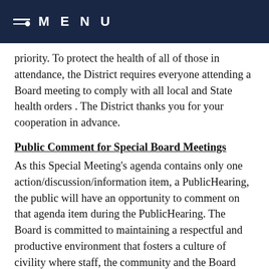MENU
priority. To protect the health of all of those in attendance, the District requires everyone attending a Board meeting to comply with all local and State health orders . The District thanks you for your cooperation in advance.
Public Comment for Special Board Meetings
As this Special Meeting's agenda contains only one action/discussion/information item, a PublicHearing, the public will have an opportunity to comment on that agenda item during the PublicHearing. The Board is committed to maintaining a respectful and productive environment that fosters a culture of civility where staff, the community and the Board feel safe to express themselves and are free from bullying, harassments, and threats. The Board welcomes your comments and requests that you express yourself